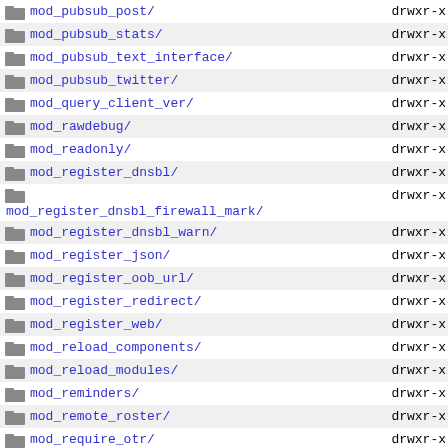mod_pubsub_post/   drwxr-x
mod_pubsub_stats/   drwxr-x
mod_pubsub_text_interface/   drwxr-x
mod_pubsub_twitter/   drwxr-x
mod_query_client_ver/   drwxr-x
mod_rawdebug/   drwxr-x
mod_readonly/   drwxr-x
mod_register_dnsbl/   drwxr-x
mod_register_dnsbl_firewall_mark/   drwxr-x
mod_register_dnsbl_warn/   drwxr-x
mod_register_json/   drwxr-x
mod_register_oob_url/   drwxr-x
mod_register_redirect/   drwxr-x
mod_register_web/   drwxr-x
mod_reload_components/   drwxr-x
mod_reload_modules/   drwxr-x
mod_reminders/   drwxr-x
mod_remote_roster/   drwxr-x
mod_require_otr/   drwxr-x
mod_rest/   drwxr-x
mod_roster_allinall/   drwxr-x
mod_roster_command/   drwxr-x